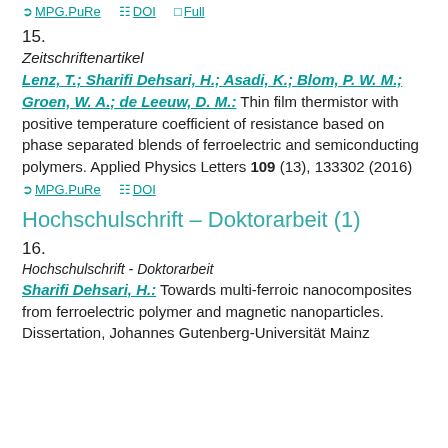MPG.PuRe  DOI  Full
15. Zeitschriftenartikel
Lenz, T.; Sharifi Dehsari, H.; Asadi, K.; Blom, P. W. M.; Groen, W. A.; de Leeuw, D. M.: Thin film thermistor with positive temperature coefficient of resistance based on phase separated blends of ferroelectric and semiconducting polymers. Applied Physics Letters 109 (13), 133302 (2016)
MPG.PuRe  DOI
Hochschulschrift – Doktorarbeit (1)
16. Hochschulschrift - Doktorarbeit
Sharifi Dehsari, H.: Towards multi-ferroic nanocomposites from ferroelectric polymer and magnetic nanoparticles. Dissertation, Johannes Gutenberg-Universität Mainz